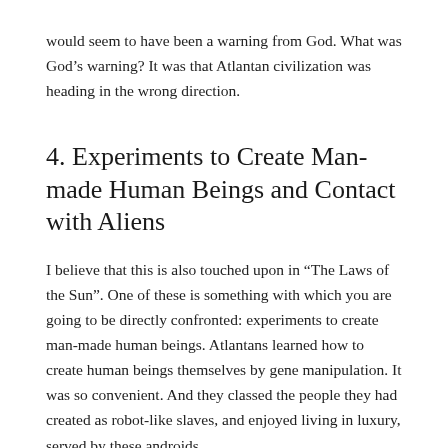would seem to have been a warning from God. What was God's warning? It was that Atlantan civilization was heading in the wrong direction.
4. Experiments to Create Man-made Human Beings and Contact with Aliens
I believe that this is also touched upon in “The Laws of the Sun”. One of these is something with which you are going to be directly confronted: experiments to create man-made human beings. Atlantans learned how to create human beings themselves by gene manipulation. It was so convenient. And they classed the people they had created as robot-like slaves, and enjoyed living in luxury, served by these androids.